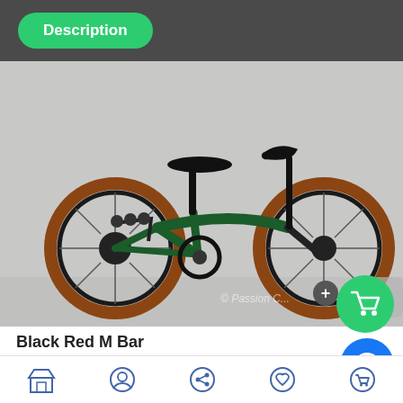Description
[Figure (photo): A dark green folding bicycle (Brompton-style) with brown/tan tires, black components including seat post, handlebars, and crank. The bike is photographed from the side against a light grey concrete wall. A watermark reading '© Passion C...' is visible at the bottom right. A navigation arrow is visible at the right edge.]
Black Red M Bar
[Figure (photo): Partial view of a second bicycle product, showing dark/black frame components against what appears to be glass/window background.]
Navigation bar with store, profile, share, wishlist, and cart icons